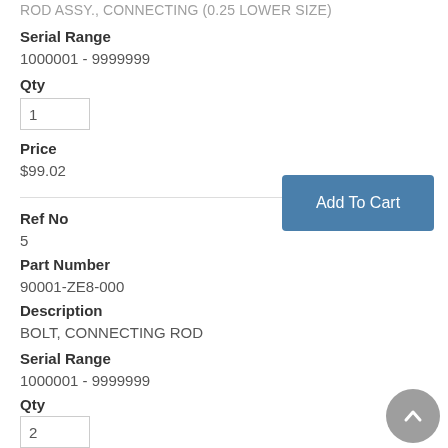ROD ASSY., CONNECTING (0.25 LOWER SIZE)
Serial Range
1000001 - 9999999
Qty
1
Price
$99.02
Add To Cart
Ref No
5
Part Number
90001-ZE8-000
Description
BOLT, CONNECTING ROD
Serial Range
1000001 - 9999999
Qty
2
Price